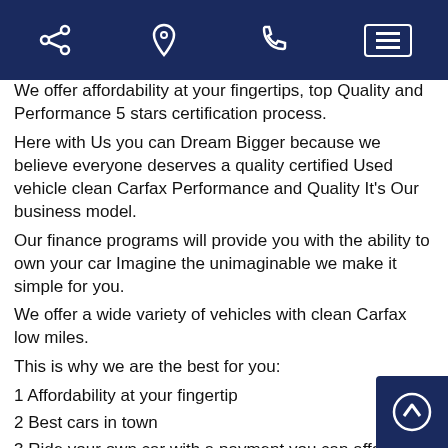[Navigation bar with share, location, phone icons and menu button]
We offer affordability at your fingertips, top Quality and Performance 5 stars certification process.
Here with Us you can Dream Bigger because we believe everyone deserves a quality certified Used vehicle clean Carfax Performance and Quality It's Our business model.
Our finance programs will provide you with the ability to own your car Imagine the unimaginable we make it simple for you.
We offer a wide variety of vehicles with clean Carfax low miles.
This is why we are the best for you:
1 Affordability at your fingertip
2 Best cars in town
3 Ride your own car with a payment you can afford
4 We are the to help you accomplish a Dream Bigger.
5 Here comes the future and We are here to assist you offering top QUALITY CARS.
6 Wheels like never before it's that something to think
7quality and performance tis our business.
8 your dreams matter to us.
9 Imagine the unimaginable lets us help you your next purch...